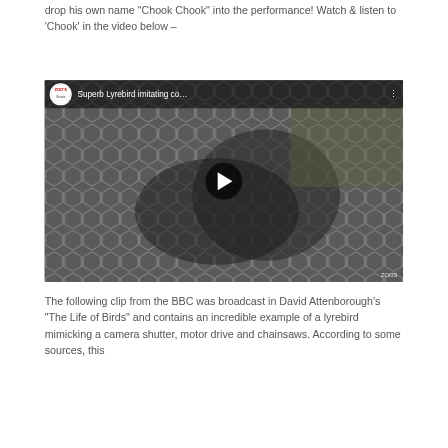drop his own name “Chook Chook” into the performance! Watch & listen to ‘Chook’ in the video below –
[Figure (screenshot): YouTube video thumbnail showing a lyrebird behind wire mesh fencing. Video title reads 'Superb Lyrebird imitating co...' with ZOOS channel logo and play button overlay.]
The following clip from the BBC was broadcast in David Attenborough’s “The Life of Birds” and contains an incredible example of a lyrebird mimicking a camera shutter, motor drive and chainsaws. According to some sources, this